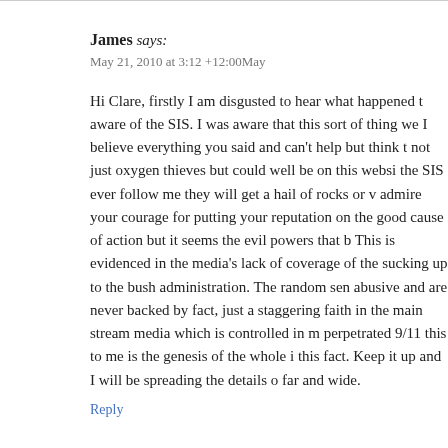James says: May 21, 2010 at 3:12 +12:00May
Hi Clare, firstly I am disgusted to hear what happened t… aware of the SIS. I was aware that this sort of thing we… I believe everything you said and can't help but think t… not just oxygen thieves but could well be on this websi… the SIS ever follow me they will get a hail of rocks or v… admire your courage for putting your reputation on the … good cause of action but it seems the evil powers that b… This is evidenced in the media's lack of coverage of the… sucking up to the bush administration. The random sen… abusive and are never backed by fact, just a staggering… faith in the main stream media which is controlled in m… perpetrated 9/11 this to me is the genesis of the whole i… this fact. Keep it up and I will be spreading the details … far and wide.
Reply